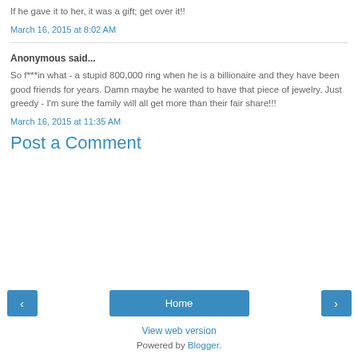If he gave it to her, it was a gift; get over it!!
March 16, 2015 at 8:02 AM
Anonymous said...
So f***in what - a stupid 800,000 ring when he is a billionaire and they have been good friends for years. Damn maybe he wanted to have that piece of jewelry. Just greedy - I'm sure the family will all get more than their fair share!!!
March 16, 2015 at 11:35 AM
Post a Comment
Home
View web version
Powered by Blogger.